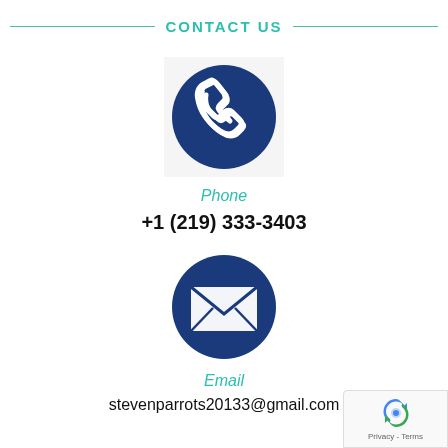CONTACT US
[Figure (illustration): Blue circle with white telephone handset icon]
Phone
+1 (219) 333-3403
[Figure (illustration): Blue circle with white envelope/email icon]
Email
stevenparrots20133@gmail.com